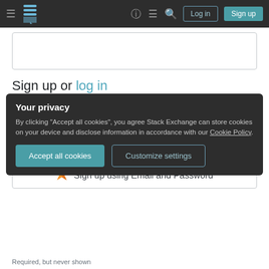Stack Exchange navigation bar with hamburger menu, logo, help, chat, search icons, Log in and Sign up buttons
Sign up or log in
Sign up using Google
Sign up using Facebook
Sign up using Email and Password
Your privacy
By clicking "Accept all cookies", you agree Stack Exchange can store cookies on your device and disclose information in accordance with our Cookie Policy.
Accept all cookies
Customize settings
Required, but never shown